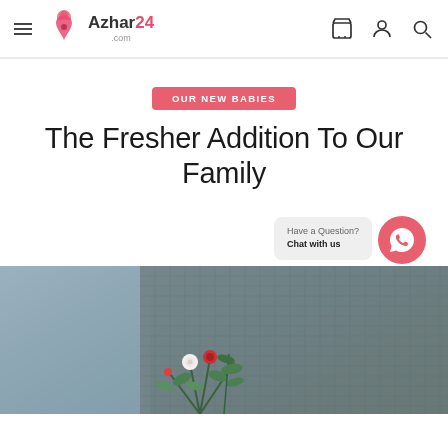Azhar24.com — navigation bar with hamburger menu, logo, cart icon, user icon, search icon
OUR NEW BABIES
The Fresher Addition To Our Family
Have a Question? Chat with us
[Figure (photo): Partial photo of a floral bouquet with green leaves and red/white flowers against a grey-blue fabric background]